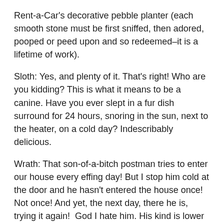Rent-a-Car's decorative pebble planter (each smooth stone must be first sniffed, then adored, pooped or peed upon and so redeemed–it is a lifetime of work).
Sloth: Yes, and plenty of it. That's right! Who are you kidding? This is what it means to be a canine. Have you ever slept in a fur dish surround for 24 hours, snoring in the sun, next to the heater, on a cold day? Indescribably delicious.
Wrath: That son-of-a-bitch postman tries to enter our house every effing day! But I stop him cold at the door and he hasn't entered the house once! Not once! And yet, the next day, there he is, trying it again!  God I hate him. His kind is lower than a flea's anus.
Gluttony: Feeeeeeeeeed me. It's cold out there. My paws